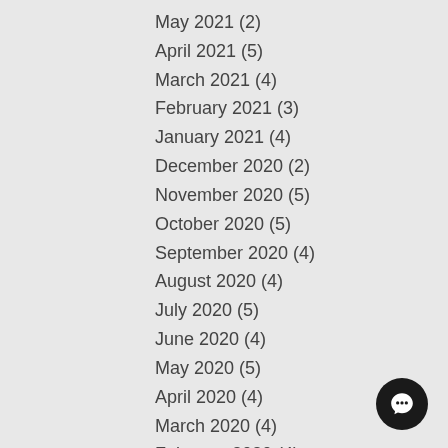May 2021 (2)
April 2021 (5)
March 2021 (4)
February 2021 (3)
January 2021 (4)
December 2020 (2)
November 2020 (5)
October 2020 (5)
September 2020 (4)
August 2020 (4)
July 2020 (5)
June 2020 (4)
May 2020 (5)
April 2020 (4)
March 2020 (4)
February 2020 (4)
January 2020 (4)
December 2019 (3)
November 2019 (5)